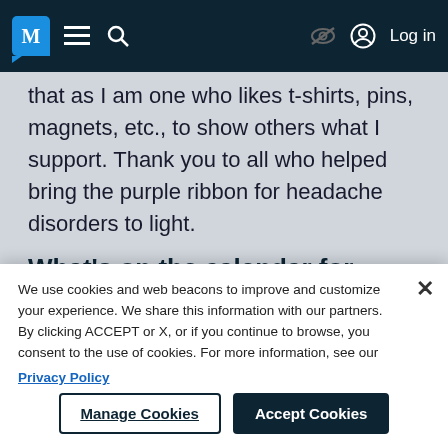M [menu] [search] [eye-slash] Log in
that as I am one who likes t-shirts, pins, magnets, etc., to show others what I support. Thank you to all who helped bring the purple ribbon for headache disorders to light.
What's on the calendar for today?
I love that as the years went on, things continued to improve to promote awareness of the headache community. A calendar was made in 2017 with a month dedicated to each and bring awareness to different people with headache conditions. One of my favorite days is June 6th, as I am a veteran who has
We use cookies and web beacons to improve and customize your experience. We share this information with our partners. By clicking ACCEPT or X, or if you continue to browse, you consent to the use of cookies. For more information, see our Privacy Policy
Manage Cookies | Accept Cookies